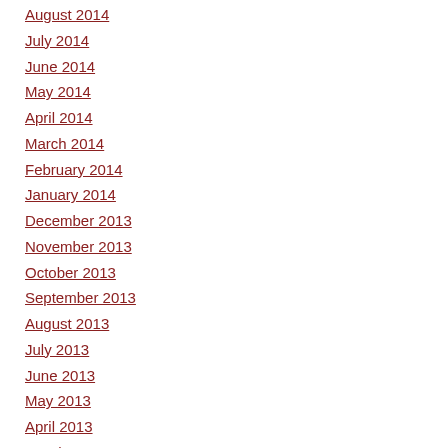August 2014
July 2014
June 2014
May 2014
April 2014
March 2014
February 2014
January 2014
December 2013
November 2013
October 2013
September 2013
August 2013
July 2013
June 2013
May 2013
April 2013
March 2013
February 2013